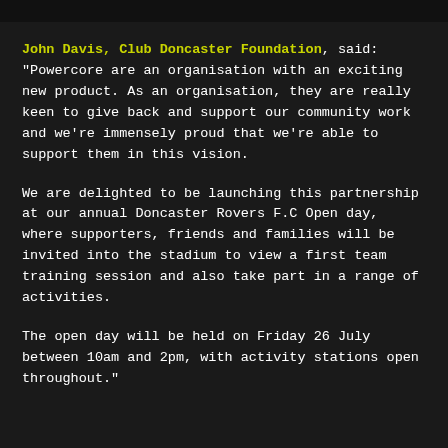John Davis, Club Doncaster Foundation, said: "Powercore are an organisation with an exciting new product. As an organisation, they are really keen to give back and support our community work and we’re immensely proud that we’re able to support them in this vision.
We are delighted to be launching this partnership at our annual Doncaster Rovers F.C Open day, where supporters, friends and families will be invited into the stadium to view a first team training session and also take part in a range of activities.
The open day will be held on Friday 26 July between 10am and 2pm, with activity stations open throughout."